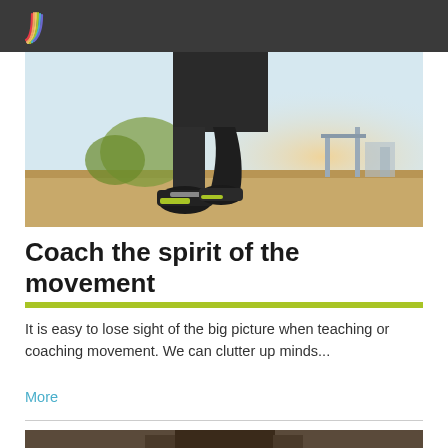[Figure (photo): Runner photographed from behind at ground level showing legs and sneakers on a running track, with a sunny outdoor background including trees and a bridge]
Coach the spirit of the movement
[Figure (other): Thin green horizontal bar separator]
It is easy to lose sight of the big picture when teaching or coaching movement. We can clutter up minds...
More
[Figure (photo): Partial bottom image of a person, cropped at bottom of page]